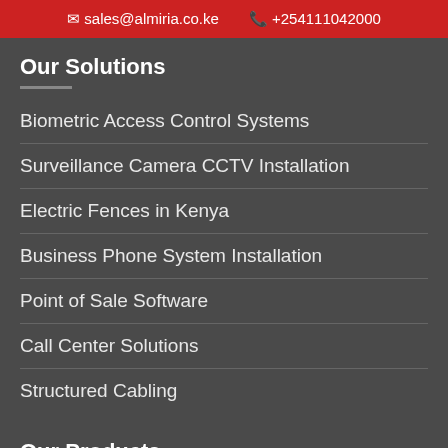✉ sales@almiria.co.ke  📞 +254111042000
Our Solutions
Biometric Access Control Systems
Surveillance Camera CCTV Installation
Electric Fences in Kenya
Business Phone System Installation
Point of Sale Software
Call Center Solutions
Structured Cabling
Our Products
Computing Products